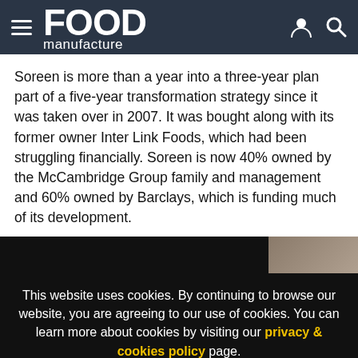FOOD manufacture
Soreen is more than a year into a three-year plan part of a five-year transformation strategy since it was taken over in 2007. It was bought along with its former owner Inter Link Foods, which had been struggling financially. Soreen is now 40% owned by the McCambridge Group family and management and 60% owned by Barclays, which is funding much of its development.
[Figure (photo): Partially visible image strip at the bottom of the article area, showing a dark background with a partial view of a food product on the right side.]
This website uses cookies. By continuing to browse our website, you are agreeing to our use of cookies. You can learn more about cookies by visiting our privacy & cookies policy page.